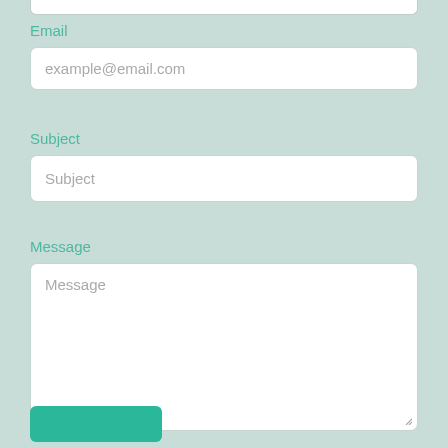Email
example@email.com
Subject
Subject
Message
Message